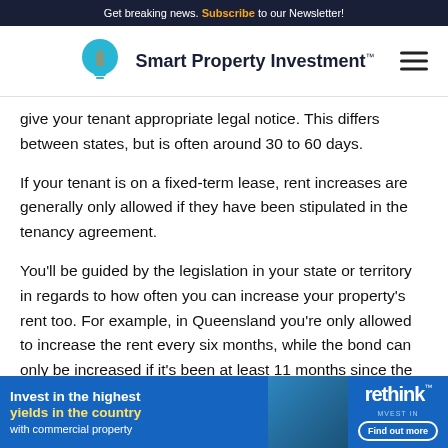Get breaking news. Subscribe to our Newsletter!
[Figure (logo): Smart Property Investment logo with lightbulb icon]
give your tenant appropriate legal notice. This differs between states, but is often around 30 to 60 days.
If your tenant is on a fixed-term lease, rent increases are generally only allowed if they have been stipulated in the tenancy agreement.
You’ll be guided by the legislation in your state or territory in regards to how often you can increase your property’s rent too. For example, in Queensland you’re only allowed to increase the rent every six months, while the bond can only be increased if it’s been at least 11 months since the last bond in... re at last six...
[Figure (infographic): Advertisement banner: Invest in the highest yields in the country with commercial property - rethink - Find out more]